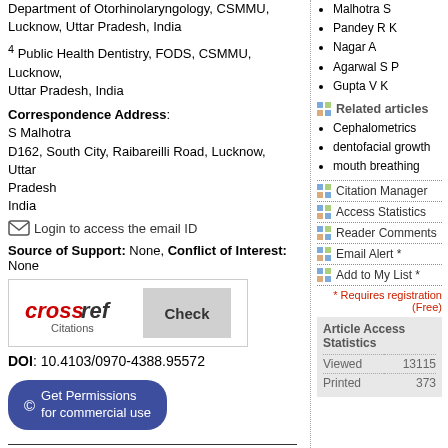Department of Otorhinolaryngology, CSMMU, Lucknow, Uttar Pradesh, India
4 Public Health Dentistry, FODS, CSMMU, Lucknow, Uttar Pradesh, India
Correspondence Address:
S Malhotra
D162, South City, Raibareilli Road, Lucknow, Uttar Pradesh
India
Login to access the email ID
Source of Support: None, Conflict of Interest: None
[Figure (logo): CrossRef Check Citations button]
DOI: 10.4103/0970-4388.95572
Get Permissions for commercial use
Backround: The oral mode of respiration cause postural adaptations of structures in the head and neck region producing the effect on the positional relationship of the jaws. Aim: The aim of this study is to verify the skeletal relationship of mouth and nose breathing child
Malhotra S
Pandey R K
Nagar A
Agarwal S P
Gupta V K
Related articles
Cephalometrics
dentofacial growth
mouth breathing
Citation Manager
Access Statistics
Reader Comments
Email Alert *
Add to My List *
* Requires registration (Free)
Article Access Statistics
|  |  |
| --- | --- |
| Viewed | 13115 |
| Printed | 373 |